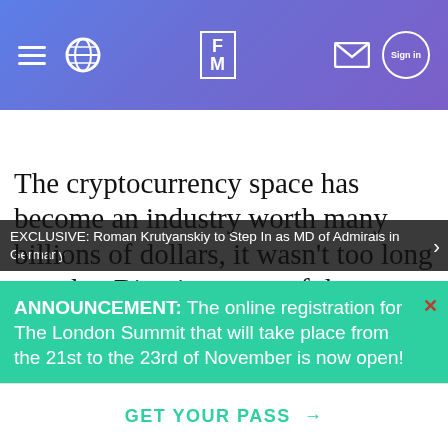FM (Finance Magnates) navigation header with hamburger menu, globe icon, FM logo, mail icon, and sign in button
EXCLUSIVE: Roman Krutyanskiy to Step In as MD of Admirals in Germany
The cryptocurrency space has become an industry worth many billions of dollars, it wasn't too long ago that Bitcoin, many of the altcoins, and a great deal of the cryptocurrency-related platforms that were developed around them were first created-- often without much (or any) startup capital
ANNOUNCEMENT: The online registration for The London Summit that will take place from the 21st to the 23rd of November is now open!
GET YOUR PASS →